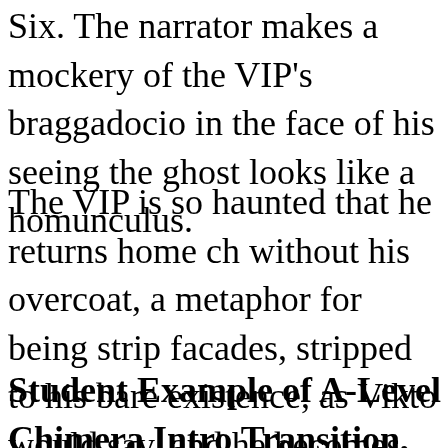Six. The narrator makes a mockery of the VIP's braggadocio in the face of his seeing the ghost looks like a homunculus.
The VIP is so haunted that he returns home ch without his overcoat, a metaphor for being strip facades, stripped to his bare existence, as Vikto would say, and he becomes averse to using gar power over people. He is more thoughtful and
Student Example of A-Level Chimera Intro Transition, and Thesis